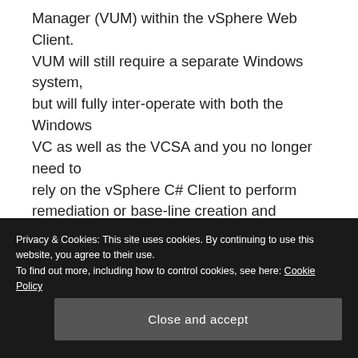Manager (VUM) within the vSphere Web Client. VUM will still require a separate Windows system, but will fully inter-operate with both the Windows VC as well as the VCSA and you no longer need to rely on the vSphere C# Client to perform remediation or base-line creation and assignments.
Privacy & Cookies: This site uses cookies. By continuing to use this website, you agree to their use. To find out more, including how to control cookies, see here: Cookie Policy